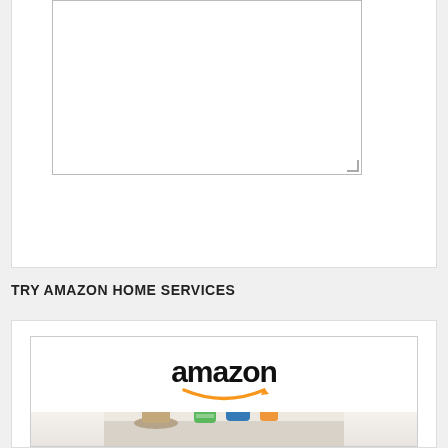[Figure (screenshot): A text area input box (empty, with resize handle) in a web form inside a white card]
[Figure (screenshot): An orange SUBMIT button with white bold text]
TRY AMAZON HOME SERVICES
[Figure (screenshot): Amazon logo with smile arrow above a photo of cleaning supplies (green spray bottle, blue spray bottle, small plant) on a light background]